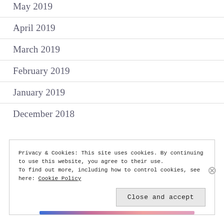May 2019
April 2019
March 2019
February 2019
January 2019
December 2018
Privacy & Cookies: This site uses cookies. By continuing to use this website, you agree to their use.
To find out more, including how to control cookies, see here: Cookie Policy
Close and accept